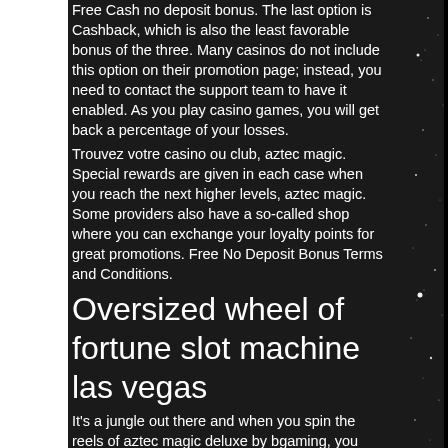Free Cash no deposit bonus. The last option is Cashback, which is also the least favorable bonus of the three. Many casinos do not include this option on their promotion page; instead, you need to contact the support team to have it enabled. As you play casino games, you will get back a percentage of your losses.
Trouvez votre casino ou club, aztec magic. Special rewards are given in each case when you reach the next higher levels, aztec magic. Some providers also have a so-called shop where you can exchange your loyalty points for great promotions. Free No Deposit Bonus Terms and Conditions.
Oversized wheel of fortune slot machine las vegas
It's a jungle out there and when you spin the reels of aztec magic deluxe by bgaming, you